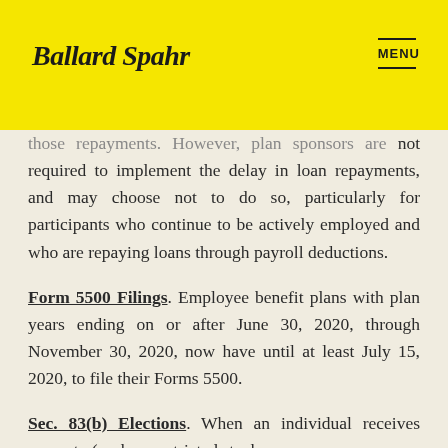Ballard Spahr | MENU
those repayments. However, plan sponsors are not required to implement the delay in loan repayments, and may choose not to do so, particularly for participants who continue to be actively employed and who are repaying loans through payroll deductions.
Form 5500 Filings. Employee benefit plans with plan years ending on or after June 30, 2020, through November 30, 2020, now have until at least July 15, 2020, to file their Forms 5500.
Sec. 83(b) Elections. When an individual receives property (such as restricted stock or a